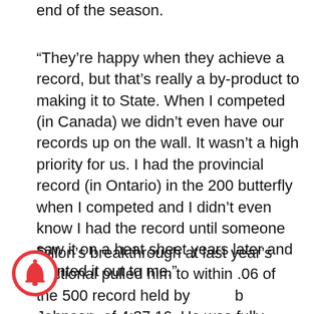end of the season.
“They’re happy when they achieve a record, but that’s really a by-product to making it to State. When I competed (in Canada) we didn’t even have our records up on the wall. It wasn’t a high priority for us. I had the provincial record (in Ontario) in the 200 butterfly when I competed and I didn’t even know I had the record until someone saw it on a heat sheet years later and pointed it out to me.”
Dillon’s breakthrough at last year’s sectional pulled him to within .06 of the 500 record held by b Johnson, of 4:37.16. He was fully shaved and tapered for both the 500 and 200 at the